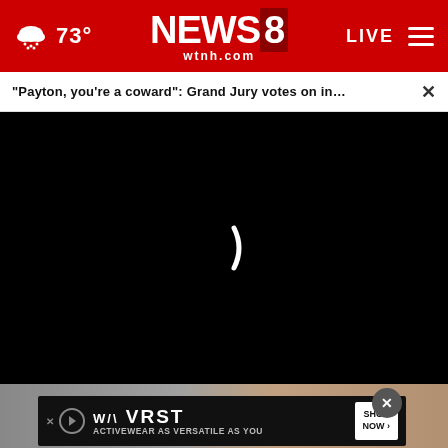NEWS 8 wtnh.com | 73° | LIVE
“Payton, you’re a coward”: Grand Jury votes on in... ×
[Figure (screenshot): Black video player area with loading spinner (white partial circle) in the center]
[Figure (photo): Partial view of a person in white clothing at bottom of page]
[Figure (infographic): Advertisement overlay: WA VRST logo, ACTIVEWEAR AS VERSATILE AS YOU, SHOP NOW button, close button]